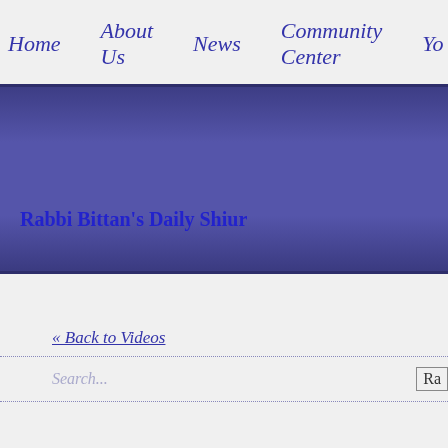Home   About Us   News   Community Center   Yo
Rabbi Bittan's Daily Shiur
« Back to Videos
Search...